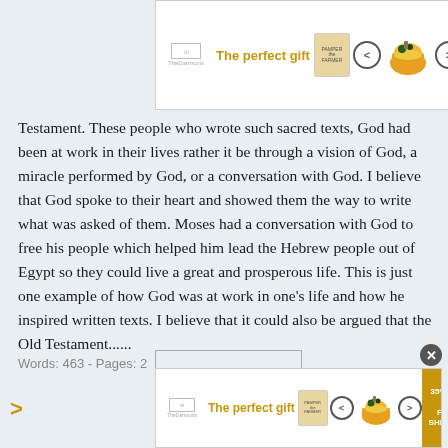[Figure (screenshot): Advertisement banner at top: 'The perfect gift' with product images, navigation arrows, and 35% FREE SHIPPING badge]
Testament. These people who wrote such sacred texts, God had been at work in their lives rather it be through a vision of God, a miracle performed by God, or a conversation with God. I believe that God spoke to their heart and showed them the way to write what was asked of them. Moses had a conversation with God to free his people which helped him lead the Hebrew people out of Egypt so they could live a great and prosperous life. This is just one example of how God was at work in one's life and how he inspired written texts. I believe that it could also be argued that the Old Testament......
Words: 463 - Pages: 2
[Figure (screenshot): Advertisement banner at bottom: 'The perfect gift' with product images, navigation arrows, and 35% OFF FREE SHIPPING badge]